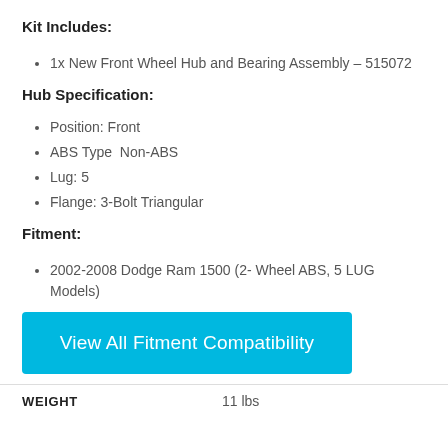Kit Includes:
1x New Front Wheel Hub and Bearing Assembly – 515072
Hub Specification:
Position: Front
ABS Type  Non-ABS
Lug: 5
Flange: 3-Bolt Triangular
Fitment:
2002-2008 Dodge Ram 1500 (2- Wheel ABS, 5 LUG Models)
View All Fitment Compatibility
| WEIGHT |  |
| --- | --- |
| WEIGHT | 11 lbs |